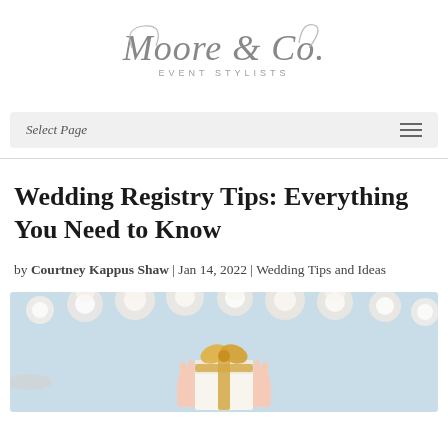[Figure (logo): Moore & Co. Event Stylists logo in elegant script font]
Select Page
Wedding Registry Tips: Everything You Need to Know
by Courtney Kappus Shaw | Jan 14, 2022 | Wedding Tips and Ideas
[Figure (photo): Overhead photo of hands holding a gift box with yellow ribbon, surrounded by white flowers on a light blue background]